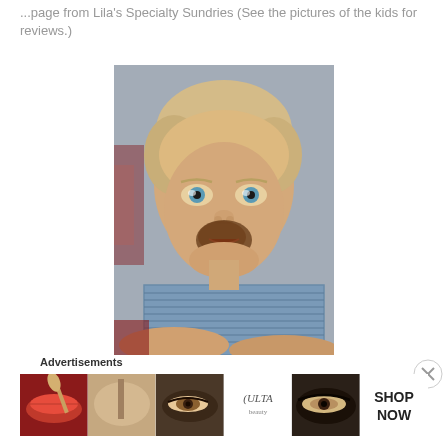...page from Lila's Specialty Sundries (See the pictures of the kids for reviews.)
[Figure (photo): Close-up photo of a toddler with blonde hair, blue eyes, and chocolate smeared around the mouth, wearing a blue striped shirt, looking directly at camera]
Advertisements
[Figure (photo): Advertisement banner strip showing beauty/makeup imagery: red lips with brush, eye makeup, ULTA Beauty logo, dramatic eye makeup, and SHOP NOW call to action]